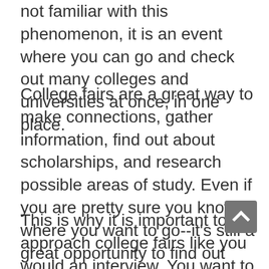not familiar with this phenomenon, it is an event where you can go and check out many colleges and universities at once, in one place.
College fairs are a great way to make connections, gather information, find out about scholarships, and research possible areas of study. Even if you are pretty sure you know where you want to go--it's still a great opportunity to find out more! You will get a chance to talk with representatives from each college and ask questions.
This is why it is important to approach college fairs like you would an interview. You want to make a good impression and show that you are serious about what you choose